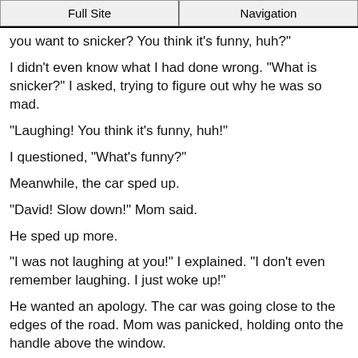Full Site | Navigation
you want to snicker? You think it's funny, huh?"
I didn't even know what I had done wrong. "What is snicker?" I asked, trying to figure out why he was so mad.
"Laughing! You think it's funny, huh!"
I questioned, "What's funny?"
Meanwhile, the car sped up.
"David! Slow down!" Mom said.
He sped up more.
"I was not laughing at you!" I explained. "I don't even remember laughing. I just woke up!"
He wanted an apology. The car was going close to the edges of the road. Mom was panicked, holding onto the handle above the window.
"Say you're sorry!" she yelled at me. "Say you're sorry!"
The tires rounded each corner. I argued that I did not laugh